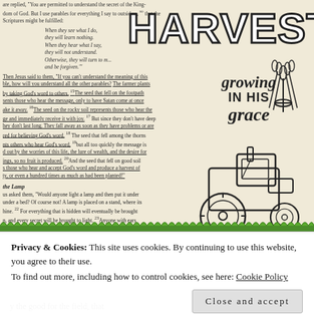[Figure (illustration): A scanned/photographed Bible journaling page with the word HARVEST in large outlined block letters at the top right, decorative wheat bundle illustration top right, handwritten-style text 'growing IN HIS grace' in the center right, a line-drawing tractor at the bottom right, and green grass strip along the bottom. The left side contains printed Bible scripture text from Mark 4.]
HARVEST
are replied, "You are permitted to understand the secret of the King-dom of God. But I use parables for everything I say to outsiders, so that the Scriptures might be fulfilled:
When they see what I do,
they will learn nothing.
When they hear what I say,
they will not understand.
Otherwise, they will turn to me
and be forgiven.'"
Then Jesus said to them, "If you can't understand the meaning of this parable, how will you understand all the other parables? The farmer plants seed by taking God's word to others. The seed that fell on the footpath represents those who hear the message, only to have Satan come at once and take it away. The seed on the rocky soil represents those who hear the message and immediately receive it with joy. But since they don't have deep roots, they don't last long. They fall away as soon as they have problems or are persecuted for believing God's word. The seed that fell among the thorns represents others who hear God's word, but all too quickly the message is crowded out by the worries of this life, the lure of wealth, and the desire for other things, so no fruit is produced. And the seed that fell on good soil represents those who hear and accept God's word and produce a harvest of thirty, sixty, or even a hundred times as much as had been planted!"
the Lamp
Jesus asked them, "Would anyone light a lamp and then put it under a basket or under a bed? Of course not! A lamp is placed on a stand, where its light can shine. For everything that is hidden will eventually be brought into the open, and every secret will be brought to light. Anyone with ears to hear should listen and understand."
He added, "Pay close attention to what you hear. The closer you
growing IN HIS grace
Privacy & Cookies: This site uses cookies. By continuing to use this website, you agree to their use.
To find out more, including how to control cookies, see here: Cookie Policy
Close and accept
y the good for the field, that